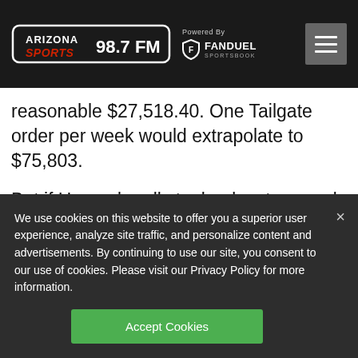Arizona Sports 98.7 FM — Powered By FanDuel Sportsbook
reasonable $27,518.40. One Tailgate order per week would extrapolate to $75,803.

But if Howard really took advantage and hit the drive-through every day,
We use cookies on this website to offer you a superior user experience, analyze site traffic, and personalize content and advertisements. By continuing to use our site, you consent to our use of cookies. Please visit our Privacy Policy for more information.
Accept Cookies